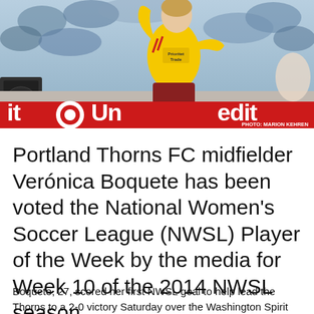[Figure (photo): Action photo of Portland Thorns FC midfielder Verónica Boquete wearing a yellow jersey with red accents, appearing to celebrate or reach upward, with a stadium/crowd background and a red advertising banner at the bottom reading 'it Un edit'. Photo credit: PHOTO: MARION KEHREN]
PHOTO: MARION KEHREN
Portland Thorns FC midfielder Verónica Boquete has been voted the National Women's Soccer League (NWSL) Player of the Week by the media for Week 10 of the 2014 NWSL season.
Boquete, 27, scored her first NWSL goal to help lead the Thorns to a 2-0 victory Saturday over the Washington Spirit